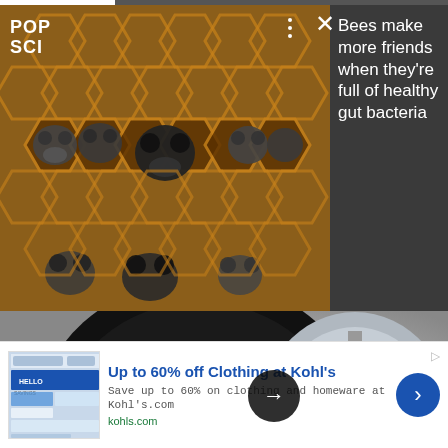[Figure (photo): Progress bar at top of article card, partially filled white on dark background]
[Figure (photo): Close-up photo of bees in a honeycomb with bees' faces visible in hexagonal cells, warm brown tones]
POP SCI
Bees make more friends when they're full of healthy gut bacteria
[Figure (photo): Snow chains (Thule brand) fitted on a car tire and alloy wheel, black tire with metallic chain links and red accent hardware, grey background]
[Figure (screenshot): Ad thumbnail showing Kohl's savings advertisement screenshot]
Up to 60% off Clothing at Kohl's
Save up to 60% on clothing and homeware at Kohl's.com
kohls.com